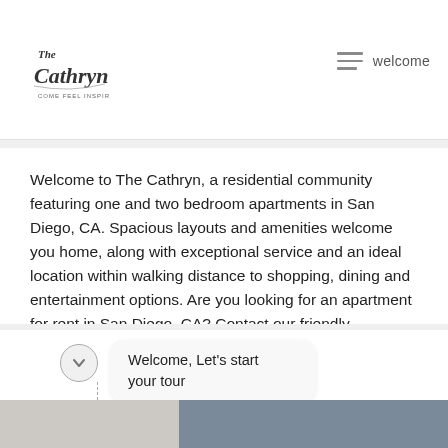The Cathryn — welcome
Welcome to The Cathryn, a residential community featuring one and two bedroom apartments in San Diego, CA. Spacious layouts and amenities welcome you home, along with exceptional service and an ideal location within walking distance to shopping, dining and entertainment options. Are you looking for an apartment for rent in San Diego, CA? Contact our friendly, professional office staff to schedule a tour today.
Welcome, Let's start your tour
[Figure (photo): Bottom strip showing partial interior photo of apartment with light and dark sections]